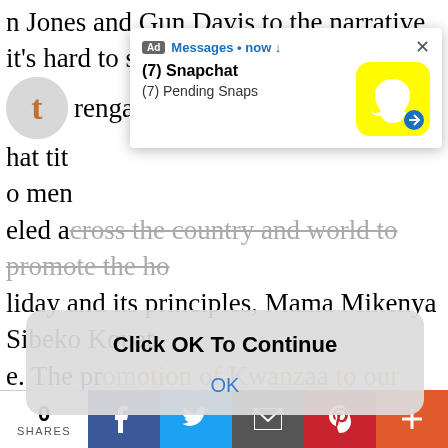n Jones and Gun Davis to the narrative, it's hard to s renga hat tit o men eled across the country and world to promote the holiday and its principles, Mama Mikenya Sibeko Kouate. The promotion of Kwanzaa to our community is just as important as her time and her work and legacy should be acknowledged in any discussion of this holiday. Finally, because this blog's name is kwanzaa-wakanda, let me connect it back to Black Panther: In World of Wakanda, Roxxanne Gay introduced a storyline in which Ayo and Aneka create a safe-haven for Wakanda's women to escape male violence and rape. It's a phenomenal story that I recommend everyone check out. That said, my only problem was
[Figure (screenshot): Snapchat advertisement notification overlay showing '(7) Snapchat' and '(7) Pending Snaps' with Snapchat ghost logo on yellow background]
[Figure (screenshot): Browser dialog box with text 'Click OK To Continue' and an OK button]
0 SHARES